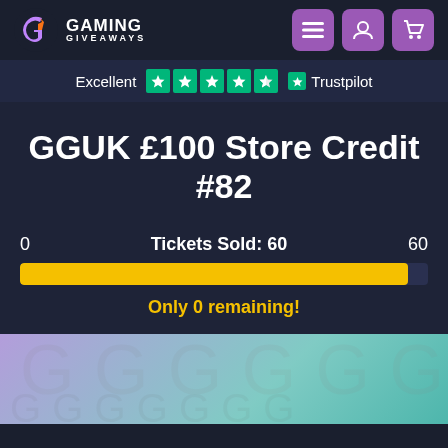Gaming Giveaways
Excellent ★★★★½ Trustpilot
GGUK £100 Store Credit #82
0   Tickets Sold: 60   60
Only 0 remaining!
[Figure (illustration): Purple/teal gradient background with faint Gaming Giveaways logo pattern]